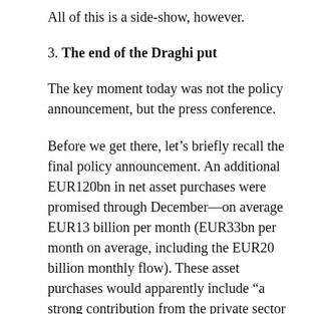All of this is a side-show, however.
3. The end of the Draghi put
The key moment today was not the policy announcement, but the press conference.
Before we get there, let’s briefly recall the final policy announcement. An additional EUR120bn in net asset purchases were promised through December—on average EUR13 billion per month (EUR33bn per month on average, including the EUR20 billion monthly flow). These asset purchases would apparently include “a strong contribution from the private sector purchase programmes.” In other words,